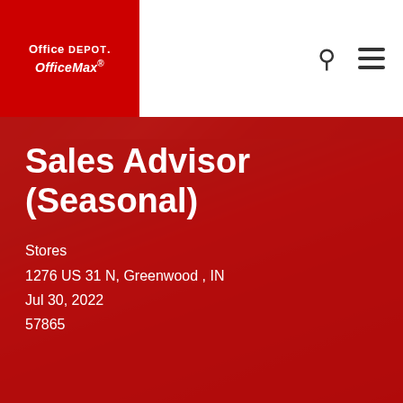[Figure (logo): Office Depot OfficeMax logo on red background]
[Figure (photo): Background photo of people in a store, blurred]
Sales Advisor (Seasonal)
Stores
1276 US 31 N, Greenwood , IN
Jul 30, 2022
57865